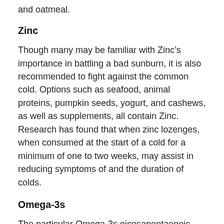and oatmeal.
Zinc
Though many may be familiar with Zinc’s importance in battling a bad sunburn, it is also recommended to fight against the common cold. Options such as seafood, animal proteins, pumpkin seeds, yogurt, and cashews, as well as supplements, all contain Zinc. Research has found that when zinc lozenges, when consumed at the start of a cold for a minimum of one to two weeks, may assist in reducing symptoms of and the duration of colds.
Omega-3s
The particular Omega-3s eicosapentaenoic acid (EPA) and docosahexaenoic acid (DHA) exert their health benefits from their anti-inflammatory properties. These Omega-3s additionally may help